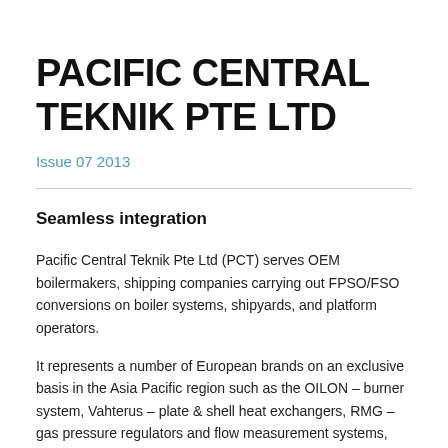PACIFIC CENTRAL TEKNIK PTE LTD
Issue 07 2013
Seamless integration
Pacific Central Teknik Pte Ltd (PCT) serves OEM boilermakers, shipping companies carrying out FPSO/FSO conversions on boiler systems, shipyards, and platform operators.
It represents a number of European brands on an exclusive basis in the Asia Pacific region such as the OILON – burner system, Vahterus – plate & shell heat exchangers, RMG – gas pressure regulators and flow measurement systems, KRAL - screw pump and